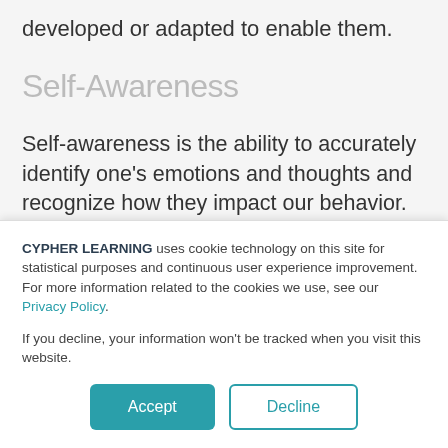developed or adapted to enable them.
Self-Awareness
Self-awareness is the ability to accurately identify one's emotions and thoughts and recognize how they impact our behavior. This includes being able to honestly assess our strengths and where we need to grow, leading to a grounded sense of confidence and optimism.
CYPHER LEARNING uses cookie technology on this site for statistical purposes and continuous user experience improvement. For more information related to the cookies we use, see our Privacy Policy.
If you decline, your information won't be tracked when you visit this website.